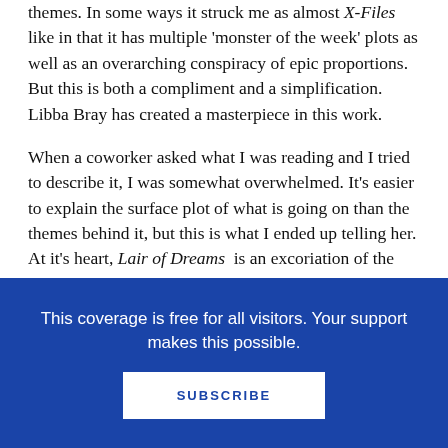themes. In some ways it struck me as almost X-Files like in that it has multiple 'monster of the week' plots as well as an overarching conspiracy of epic proportions. But this is both a compliment and a simplification. Libba Bray has created a masterpiece in this work.
When a coworker asked what I was reading and I tried to describe it, I was somewhat overwhelmed. It's easier to explain the surface plot of what is going on than the themes behind it, but this is what I ended up telling her. At it's heart, Lair of Dreams is an excoriation of the ideology behind 'American Exceptionalism.' This ideology that asserts our unique values of democracy and personal liberty has
This coverage is free for all visitors. Your support makes this possible.
SUBSCRIBE